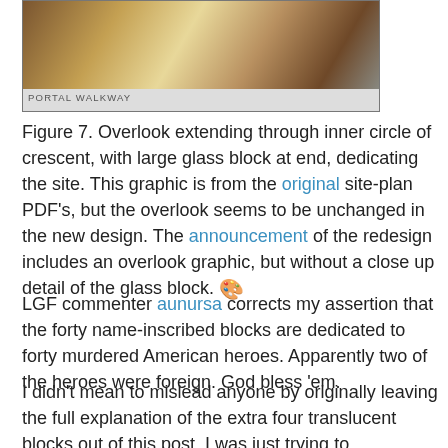[Figure (photo): Photo of a portal walkway with brownish/tan stone or tile colors, partially visible]
PORTAL WALKWAY
Figure 7. Overlook extending through inner circle of crescent, with large glass block at end, dedicating the site. This graphic is from the original site-plan PDF's, but the overlook seems to be unchanged in the new design. The announcement of the redesign includes an overlook graphic, but without a close up detail of the glass block.
LGF commenter aunursa corrects my assertion that the forty name-inscribed blocks are dedicated to forty murdered American heroes. Apparently two of the heroes were foreign. God bless 'em.
I didn't mean to mislead anyone by originally leaving the full explanation of the extra four translucent blocks out of this post. I was just trying to summarize my findings, while providing links to my full analyses. Far from thinking that the different shaped block at the upper crescent tip weakens the “44 deaths, 44 blocks” interpretation, my full analysis reveals the 44th block, tying the upper section of the memorial wall